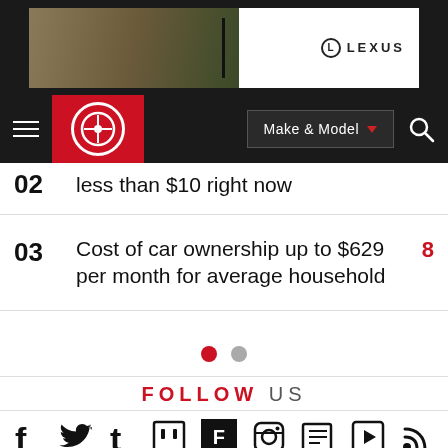[Figure (screenshot): Lexus advertisement banner at top of page]
[Figure (screenshot): Navigation bar with hamburger menu, Carlist logo, Make & Model dropdown, and search icon]
02 less than $10 right now
03 Cost of car ownership up to $629 per month for average household  8
[Figure (other): Pagination dots - one red active dot and one grey inactive dot]
FOLLOW US
[Figure (other): Social media icons row: Facebook, Twitter, Tumblr, Twitch, Flipboard, Instagram, News, Video, RSS]